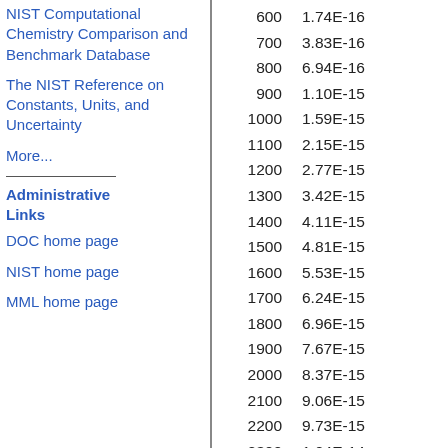NIST Computational Chemistry Comparison and Benchmark Database
The NIST Reference on Constants, Units, and Uncertainty
More...
Administrative Links
DOC home page
NIST home page
MML home page
|  |  |
| --- | --- |
| 600 | 1.74E-16 |
| 700 | 3.83E-16 |
| 800 | 6.94E-16 |
| 900 | 1.10E-15 |
| 1000 | 1.59E-15 |
| 1100 | 2.15E-15 |
| 1200 | 2.77E-15 |
| 1300 | 3.42E-15 |
| 1400 | 4.11E-15 |
| 1500 | 4.81E-15 |
| 1600 | 5.53E-15 |
| 1700 | 6.24E-15 |
| 1800 | 6.96E-15 |
| 1900 | 7.67E-15 |
| 2000 | 8.37E-15 |
| 2100 | 9.06E-15 |
| 2200 | 9.73E-15 |
| 2300 | 1.04E-14 |
| 2400 | 1.10E-14 |
| 2500 | 1.17E-14 |